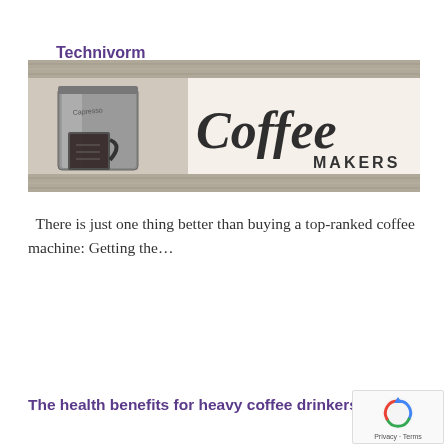Technivorm Moccamaster KB-741
[Figure (photo): Banner image of a coffee maker on the left side with 'Coffee MAKERS' text in decorative script on the right side, against a distressed white/grey textured background.]
There is just one thing better than buying a top-ranked coffee machine: Getting the…
Read More
The health benefits for heavy coffee drinkers